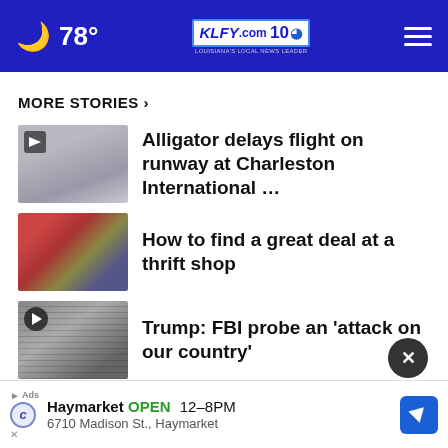🌙 78° | KLFY.com 10 | ≡
MORE STORIES ›
Alligator delays flight on runway at Charleston International …
How to find a great deal at a thrift shop
Trump: FBI probe an 'attack on our country'
Diminished blood supplies have Vitalant looking for …
[Figure (screenshot): Advertisement: Haymarket OPEN 12-8PM, 6710 Madison St., Haymarket with navigation icon]